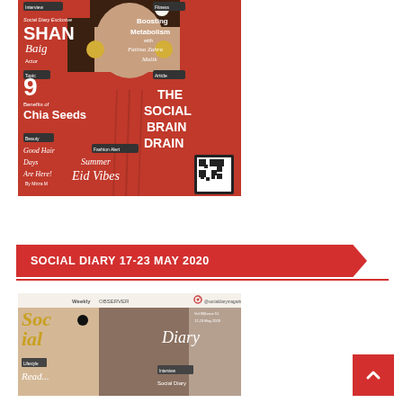[Figure (photo): Magazine cover of Social Diary featuring actress Shan Baig in red outfit. Text includes: Social Diary Exclusive, SHAN Baig Actor, Boosting Metabolism with Fatima Zahra, 9 Benefits of Chia Seeds, Good Hair Days Are Here! By Mirza M, Fashion Alert Summer Eid Vibes, THE SOCIAL BRAIN DRAIN, Article]
SOCIAL DIARY 17-23 MAY 2020
[Figure (photo): Magazine cover of Social Diary Weekly Observer, Vol 06 Issue 51, 17-23 May 2020, featuring two women. Shows Social Diary branding with Instagram handle @socialdiarymagazine. Interview: Social Diary]